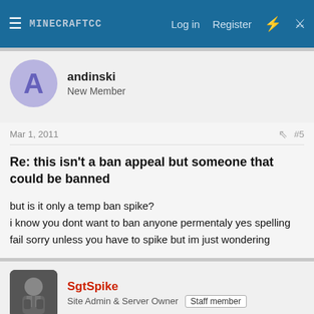MINECRAFTCC  Log in  Register
andinski
New Member
Mar 1, 2011  #5
Re: this isn't a ban appeal but someone that could be banned
but is it only a temp ban spike?
i know you dont want to ban anyone permentaly yes spelling fail sorry unless you have to spike but im just wondering
SgtSpike
Site Admin & Server Owner  Staff member
Mar 1, 2011  #6
Re: this isn't a ban appeal but someone that could be